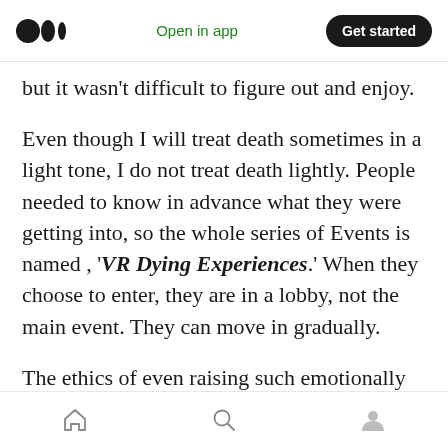Open in app | Get started
but it wasn't difficult to figure out and enjoy.
Even though I will treat death sometimes in a light tone, I do not treat death lightly. People needed to know in advance what they were getting into, so the whole series of Events is named , 'VR Dying Experiences.' When they choose to enter, they are in a lobby, not the main event. They can move in gradually.
The ethics of even raising such emotionally charged topics without being physically co-located is unexplored territory, which is why I am
Home | Search | Profile